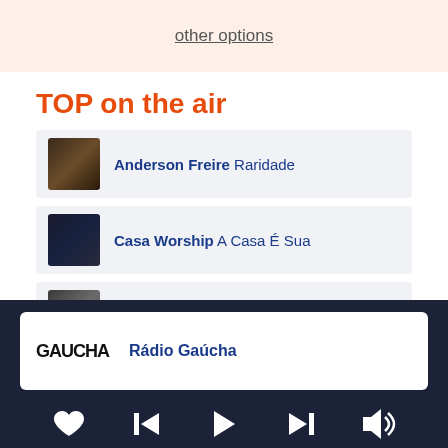other options
TOP on the air
Anderson Freire Raridade
Casa Worship A Casa É Sua
Gabriela Gomes Agindo Deus
Henrique & Juliano Eu e a Saudade (Ao Vivo)
Rádio Gaúcha